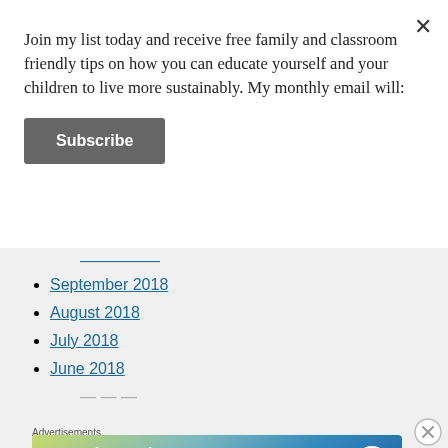Join my list today and receive free family and classroom friendly tips on how you can educate yourself and your children to live more sustainably. My monthly email will:
Subscribe
September 2018
August 2018
July 2018
June 2018
Advertisements
[Figure (infographic): WordPress app advertisement banner: 'Create immersive stories. GET THE APP' with WordPress logo on a blue-green gradient background.]